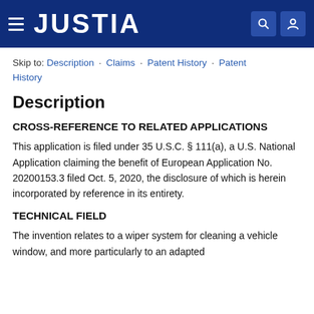JUSTIA
Skip to: Description · Claims · Patent History · Patent History
Description
CROSS-REFERENCE TO RELATED APPLICATIONS
This application is filed under 35 U.S.C. § 111(a), a U.S. National Application claiming the benefit of European Application No. 20200153.3 filed Oct. 5, 2020, the disclosure of which is herein incorporated by reference in its entirety.
TECHNICAL FIELD
The invention relates to a wiper system for cleaning a vehicle window, and more particularly to an adapted